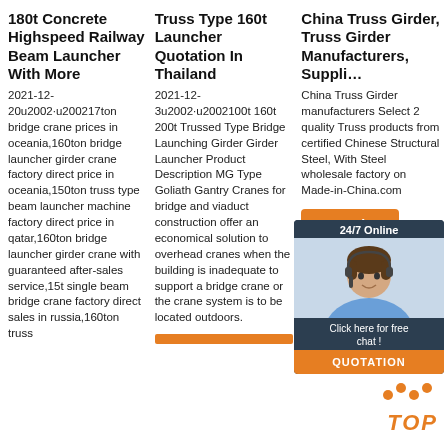180t Concrete Highspeed Railway Beam Launcher With More
2021-12-20u2002·u200217ton bridge crane prices in oceania,160ton bridge launcher girder crane factory direct price in oceania,150ton truss type beam launcher machine factory direct price in qatar,160ton bridge launcher girder crane with guaranteed after-sales service,15t single beam bridge crane factory direct sales in russia,160ton truss
Truss Type 160t Launcher Quotation In Thailand
2021-12-3u2002·u2002100t 160t 200t Trussed Type Bridge Launching Girder Girder Launcher Product Description MG Type Goliath Gantry Cranes for bridge and viaduct construction offer an economical solution to overhead cranes when the building is inadequate to support a bridge crane or the crane system is to be located outdoors.
China Truss Girder, Truss Girder Manufacturers, Suppli…
China Truss Girder manufacturers Select 2 quality Truss products from certified Chinese Structural Steel, With Steel wholesale factory on Made-in-China.com
[Figure (infographic): Live chat widget with '24/7 Online' label, agent photo, 'Click here for free chat!' text, and orange QUOTATION button]
Get Price
[Figure (infographic): Orange dots and TOP label in orange italic bold text indicating a back-to-top button]